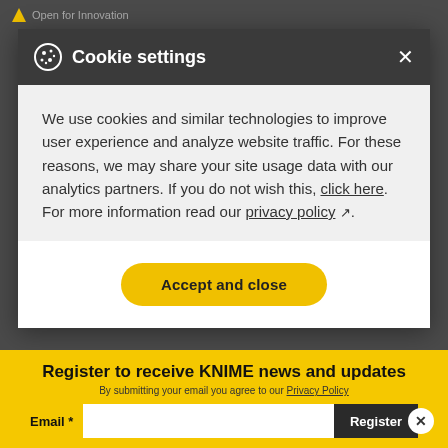Open for Innovation
Cookie settings
We use cookies and similar technologies to improve user experience and analyze website traffic. For these reasons, we may share your site usage data with our analytics partners. If you do not wish this, click here. For more information read our privacy policy ↗.
Accept and close
Register to receive KNIME news and updates
By submitting your email you agree to our Privacy Policy
Email *  Register